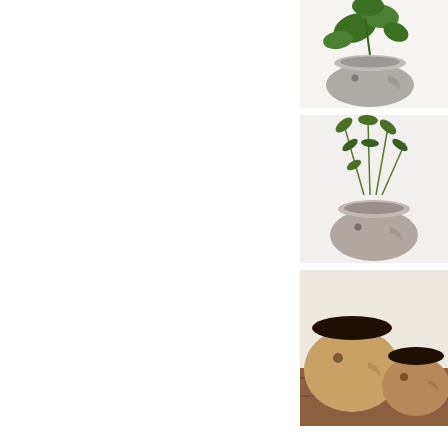[Figure (photo): Gray ceramic face planter with a green leafy plant, white background]
[Figure (photo): Gray ceramic face planter with feathery green plant, white background]
[Figure (photo): Two tan/brown ceramic face planters side by side on a wooden surface, white background]
[Figure (photo): Pink/peach ceramic face planter with dark interior on a patterned botanical background]
[Figure (photo): Pink/peach ceramic face planter with small plant on a patterned botanical background]